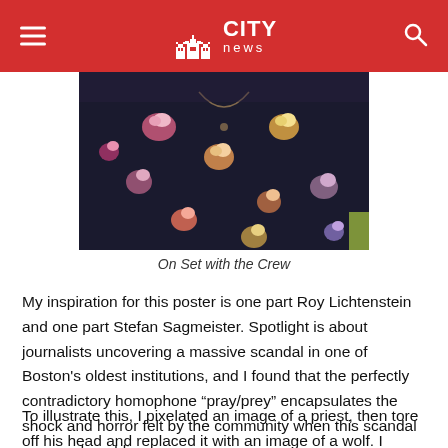CITY news
[Figure (photo): Close-up photo of a person wearing a dark floral dress with pink, red, and gold flowers, also wearing a necklace.]
On Set with the Crew
My inspiration for this poster is one part Roy Lichtenstein and one part Stefan Sagmeister. Spotlight is about journalists uncovering a massive scandal in one of Boston's oldest institutions, and I found that the perfectly contradictory homophone “pray/prey” encapsulates the shock and horror felt by the community when this scandal was made public.
To illustrate this, I pixelated an image of a priest, then tore off his head and replaced it with an image of a wolf. I looked